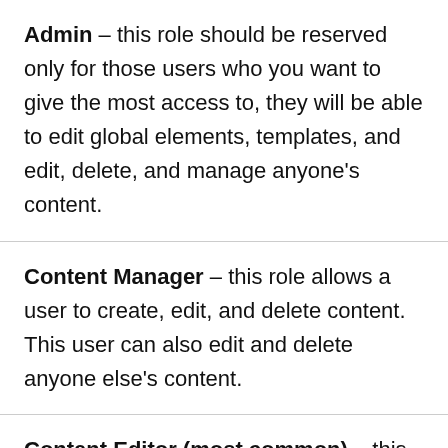Admin – this role should be reserved only for those users who you want to give the most access to, they will be able to edit global elements, templates, and edit, delete, and manage anyone's content.
Content Manager – this role allows a user to create, edit, and delete content. This user can also edit and delete anyone else's content.
Content Editor (most common) – this role allows a user to create and edit content. This user can also edit anyone else's…